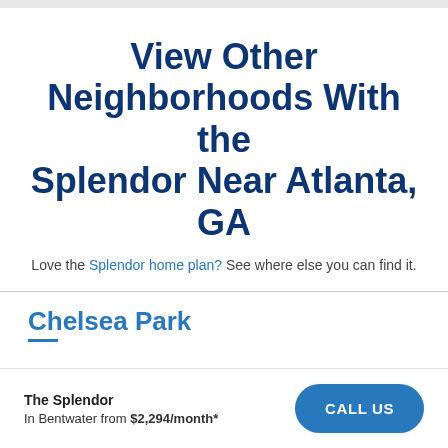View Other Neighborhoods With the Splendor Near Atlanta, GA
Love the Splendor home plan? See where else you can find it.
Chelsea Park
The Splendor
In Bentwater from $2,294/month*